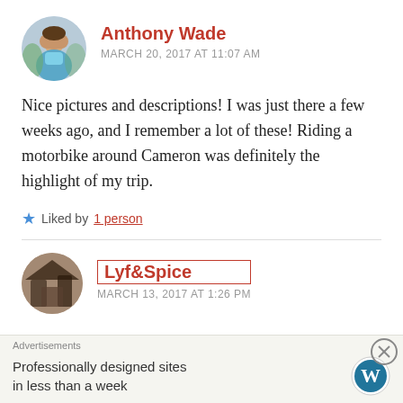[Figure (photo): Circular avatar photo of Anthony Wade, young man in light blue shirt outdoors]
Anthony Wade
MARCH 20, 2017 AT 11:07 AM
Nice pictures and descriptions! I was just there a few weeks ago, and I remember a lot of these! Riding a motorbike around Cameron was definitely the highlight of my trip.
★ Liked by 1 person
[Figure (photo): Circular avatar photo of Lyf&Spice showing a dark architectural scene]
Lyf&Spice
MARCH 13, 2017 AT 1:26 PM
Advertisements
Professionally designed sites in less than a week